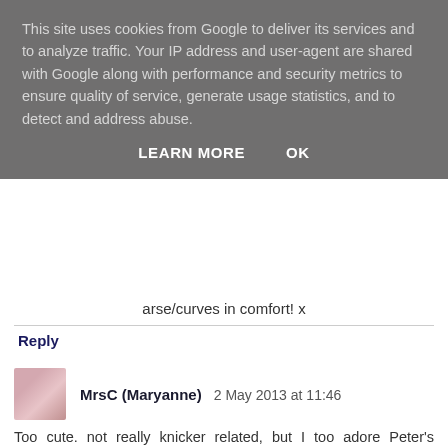This site uses cookies from Google to deliver its services and to analyze traffic. Your IP address and user-agent are shared with Google along with performance and security metrics to ensure quality of service, generate usage statistics, and to detect and address abuse.
LEARN MORE   OK
arse/curves in comfort! x
Reply
MrsC (Maryanne) 2 May 2013 at 11:46
Too cute. not really knicker related, but I too adore Peter's vintage keks. And when I was reading his post about Deanna Durbin the first thing I thought when I saw the photo of her was how much she looked like you. :) Off topic, but wey hey!
Reply